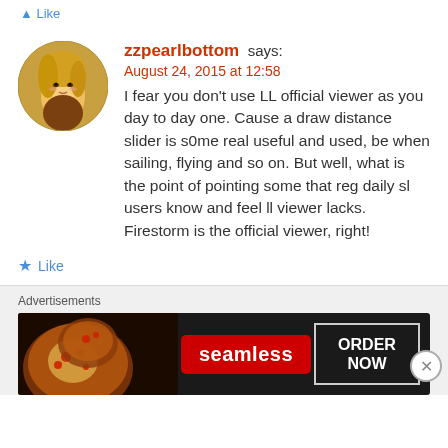Like
[Figure (photo): Circular avatar image of a blonde female character, apparently from a virtual world or game]
zzpearlbottom says:
August 24, 2015 at 12:58
I fear you don't use LL official viewer as you day to day one. Cause a draw distance slider is s0me real useful and used, be when sailing, flying and so on. But well, what is the point of pointing some that reg daily sl users know and feel ll viewer lacks. Firestorm is the official viewer, right!
★ Like
Advertisements
[Figure (screenshot): Seamless food delivery advertisement banner with pizza image on left, red Seamless logo in center, and ORDER NOW button on right, on dark background]